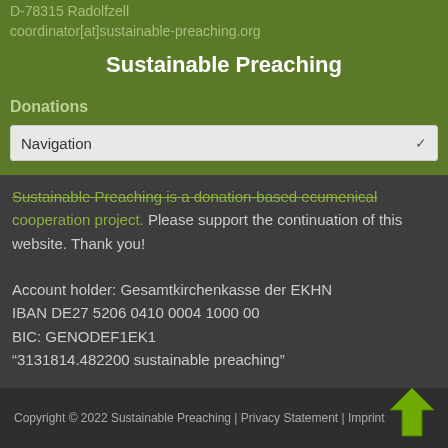D-78315 Radolfzell
coordinator[at]sustainable-preaching.org
Sustainable Preaching
Donations
Navigation
Sustainable Preaching is a donation-based ecumenical cooperation project. Please support the continuation of this website. Thank you!
Account holder: Gesamtkirchenkasse der EKHN
IBAN DE27 5206 0410 0004 1000 00
BIC: GENODEF1EK1
“3131814.482200 sustainable preaching”
Copyright © 2022 Sustainable Preaching | Privacy Statement | Imprint